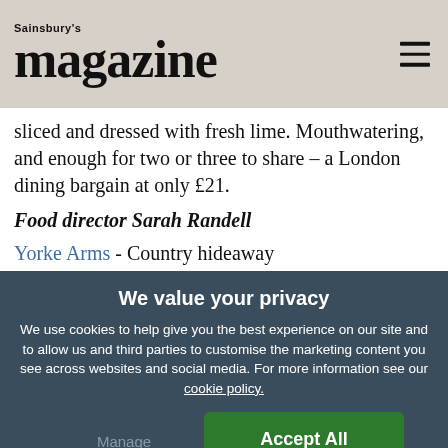Sainsbury's magazine
sliced and dressed with fresh lime. Mouthwatering, and enough for two or three to share – a London dining bargain at only £21.
Food director Sarah Randell
Yorke Arms - Country hideaway
We value your privacy
We use cookies to help give you the best experience on our site and to allow us and third parties to customise the marketing content you see across websites and social media. For more information see our cookie policy.
Manage Preferences
Accept All Cookies